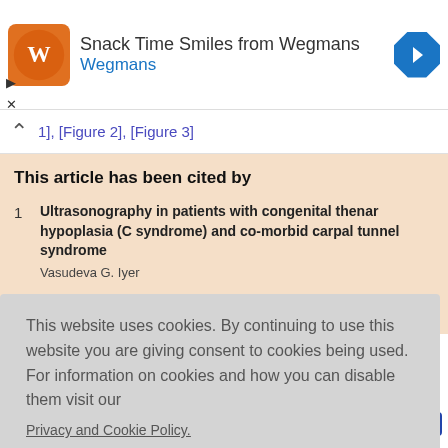[Figure (other): Advertisement banner for Snack Time Smiles from Wegmans with orange logo and blue navigation arrow]
1], [Figure 2], [Figure 3]
This article has been cited by
Ultrasonography in patients with congenital thenar hypoplasia (C syndrome) and co-morbid carpal tunnel syndrome
Vasudeva G. Iyer
This website uses cookies. By continuing to use this website you are giving consent to cookies being used. For information on cookies and how you can disable them visit our
Privacy and Cookie Policy.
AGREE & PROCEED